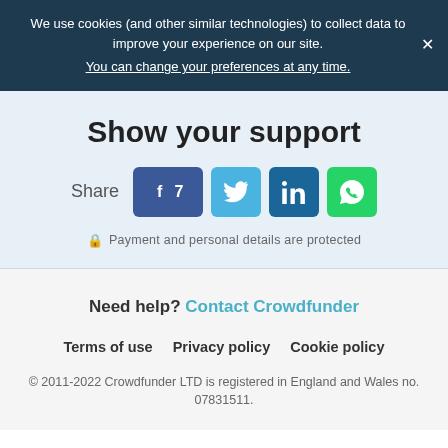We use cookies (and other similar technologies) to collect data to improve your experience on our site. You can change your preferences at any time.
Show your support
[Figure (infographic): Share buttons row: Facebook (with count 7), Twitter, LinkedIn, WhatsApp]
Payment and personal details are protected
Need help? Contact Crowdfunder
Terms of use   Privacy policy   Cookie policy
© 2011-2022 Crowdfunder LTD is registered in England and Wales no. 07831511.